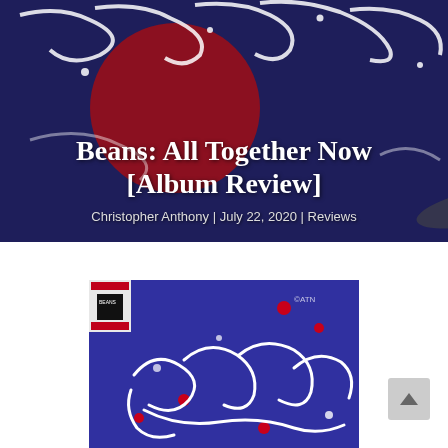[Figure (illustration): Hero banner with dark navy/indigo background featuring stylized calligraphic text and a large red circle (moon). White flowing script text partially visible at top.]
Beans: All Together Now [Album Review]
Christopher Anthony | July 22, 2020 | Reviews
[Figure (illustration): Album cover art for 'Beans: All Together Now' — purple/indigo background with white calligraphic text reading 'All Together Now' and scattered red and white dots. Small black-and-white band logo inset in top-left corner.]